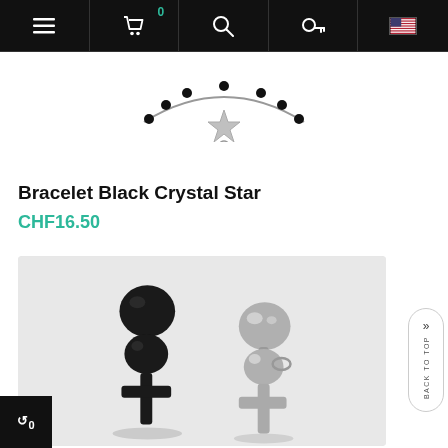Navigation bar with menu, cart (0), search, key, and flag icons
[Figure (photo): Bracelet with black crystal beads and a silver star pendant shown at top of page]
Bracelet Black Crystal Star
CHF16.50
[Figure (photo): Two cross pendant earrings side by side — one black and one silver — on a light grey background]
BACK TO TOP